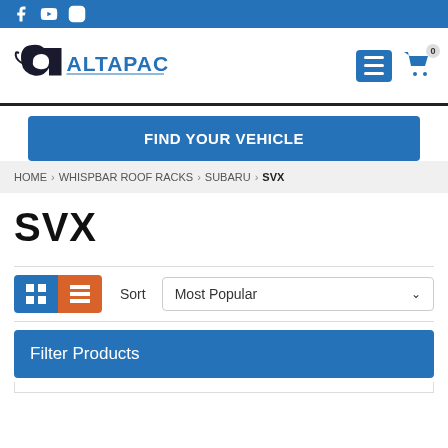Social media icons: Facebook, YouTube, Instagram
[Figure (logo): Altapac logo with stylized 'a' graphic and ALTAPAC text in blue]
FIND YOUR VEHICLE
HOME › WHISPBAR ROOF RACKS › SUBARU › SVX
SVX
Sort  Most Popular
Filter Products